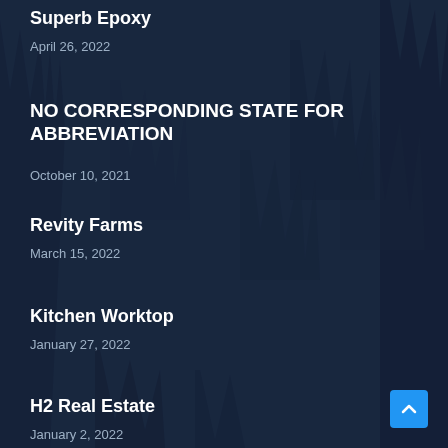Superb Epoxy
April 26, 2022
NO CORRESPONDING STATE FOR ABBREVIATION
October 10, 2021
Revity Farms
March 15, 2022
Kitchen Worktop
January 27, 2022
H2 Real Estate
January 2, 2022